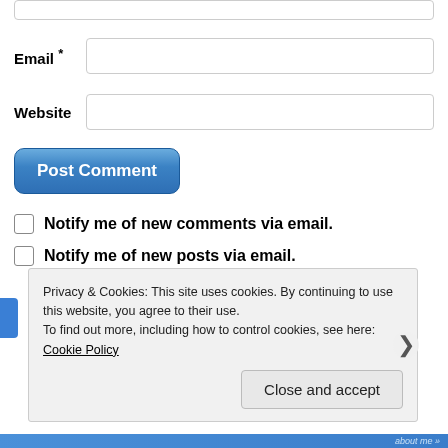[Figure (screenshot): Top of a partially visible text input field (comment box stub at the top of the page)]
Email *
[Figure (screenshot): Email text input field]
Website
[Figure (screenshot): Website text input field]
[Figure (screenshot): Post Comment button (blue rounded button)]
Notify me of new comments via email.
Notify me of new posts via email.
Privacy & Cookies: This site uses cookies. By continuing to use this website, you agree to their use.
To find out more, including how to control cookies, see here: Cookie Policy
Close and accept